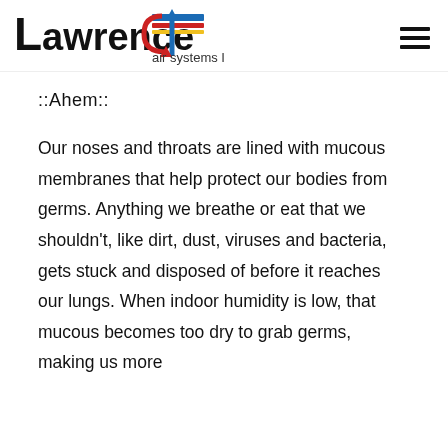Lawrence air systems Inc.
::Ahem::
Our noses and throats are lined with mucous membranes that help protect our bodies from germs. Anything we breathe or eat that we shouldn't, like dirt, dust, viruses and bacteria, gets stuck and disposed of before it reaches our lungs. When indoor humidity is low, that mucous becomes too dry to grab germs, making us more susceptible to infection from colds and flu.